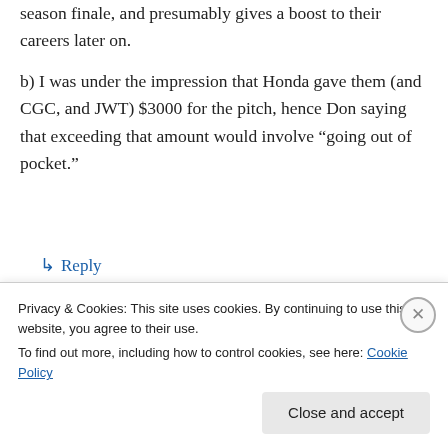season finale, and presumably gives a boost to their careers later on.
b) I was under the impression that Honda gave them (and CGC, and JWT) $3000 for the pitch, hence Don saying that exceeding that amount would involve “going out of pocket.”
↳ Reply
[Figure (screenshot): Comment section with dashed header and three user avatars (two photos and one blue circle with plus icon)]
Privacy & Cookies: This site uses cookies. By continuing to use this website, you agree to their use.
To find out more, including how to control cookies, see here: Cookie Policy
Close and accept